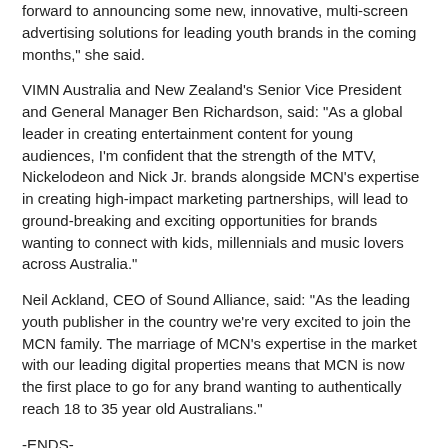forward to announcing some new, innovative, multi-screen advertising solutions for leading youth brands in the coming months," she said.
VIMN Australia and New Zealand's Senior Vice President and General Manager Ben Richardson, said: "As a global leader in creating entertainment content for young audiences, I'm confident that the strength of the MTV, Nickelodeon and Nick Jr. brands alongside MCN's expertise in creating high-impact marketing partnerships, will lead to ground-breaking and exciting opportunities for brands wanting to connect with kids, millennials and music lovers across Australia."
Neil Ackland, CEO of Sound Alliance, said: "As the leading youth publisher in the country we're very excited to join the MCN family. The marriage of MCN's expertise in the market with our leading digital properties means that MCN is now the first place to go for any brand wanting to authentically reach 18 to 35 year old Australians."
-ENDS-